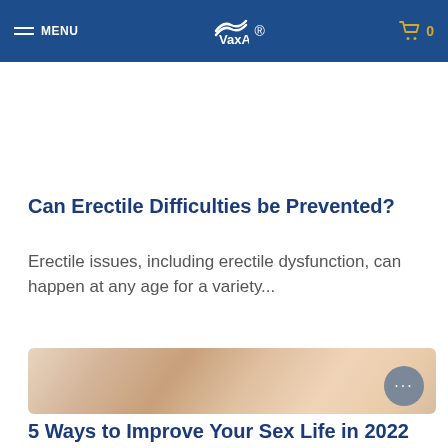MENU | VaxAid | 0
[Figure (photo): Partial cropped photo showing a person at a desk or computer, blurred background tones of blue and grey]
Can Erectile Difficulties be Prevented?
Erectile issues, including erectile dysfunction, can happen at any age for a variety...
[Figure (photo): Photo of an older couple together, appearing intimate or affectionate, warm blurred tones]
5 Ways to Improve Your Sex Life in 2022